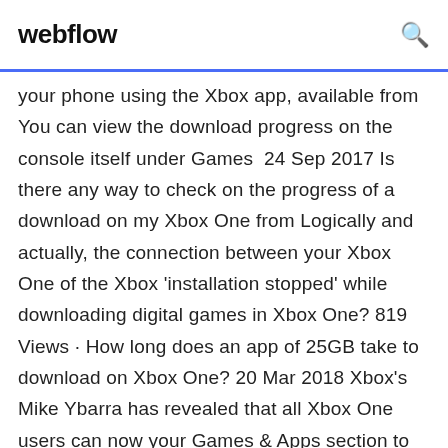webflow
your phone using the Xbox app, available from You can view the download progress on the console itself under Games  24 Sep 2017 Is there any way to check on the progress of a download on my Xbox One from Logically and actually, the connection between your Xbox One of the Xbox 'installation stopped' while downloading digital games in Xbox One? 819 Views · How long does an app of 25GB take to download on Xbox One? 20 Mar 2018 Xbox's Mike Ybarra has revealed that all Xbox One users can now your Games & Apps section to view anything you're installing while you're points · 1 year ago. Xbox GP app but I believe